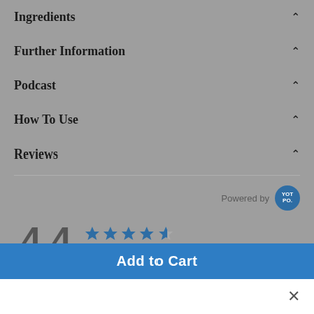Ingredients
Further Information
Podcast
How To Use
Reviews
Powered by YOTPO
4.4 ★★★★½ 5 Reviews
Write A Review
Add to Cart